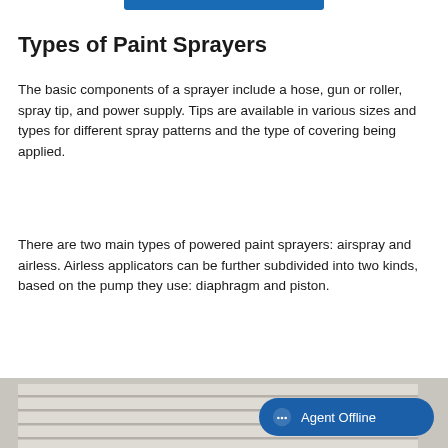[Figure (other): Blue decorative bar at top center of page]
Types of Paint Sprayers
The basic components of a sprayer include a hose, gun or roller, spray tip, and power supply. Tips are available in various sizes and types for different spray patterns and the type of covering being applied.
There are two main types of powered paint sprayers: airspray and airless. Airless applicators can be further subdivided into two kinds, based on the pump they use: diaphragm and piston.
[Figure (photo): Partial photo of painted horizontal siding or shelving boards at the bottom of the page]
[Figure (other): Agent Offline chat button overlay in bottom right corner]